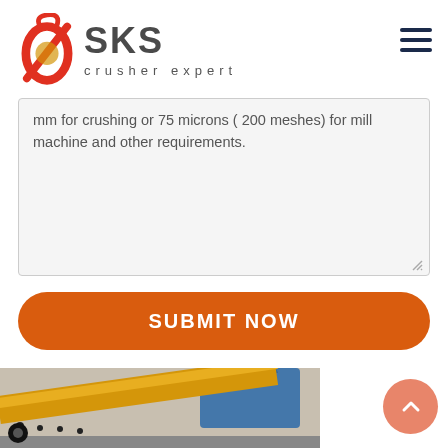[Figure (logo): SKS crusher expert logo with red swirl emblem and gray SKS text]
mm for crushing or 75 microns ( 200 meshes) for mill machine and other requirements.
SUBMIT NOW
[Figure (photo): Industrial crusher/vibrating feeder equipment in yellow and blue, inside a factory]